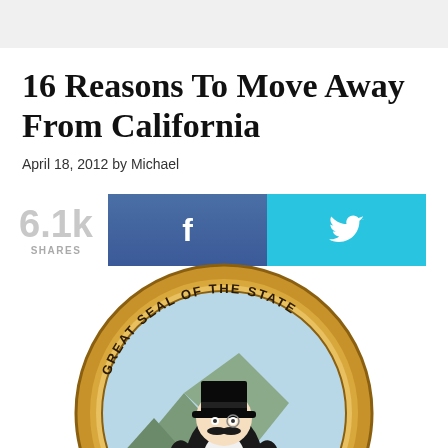16 Reasons To Move Away From California
April 18, 2012 by Michael
[Figure (infographic): Social share count showing 6.1k SHARES with Facebook and Twitter share buttons]
[Figure (photo): California Great Seal modified with Monopoly Man character placed in center, circular gold border with text GREAT SEAL OF THE STATE]